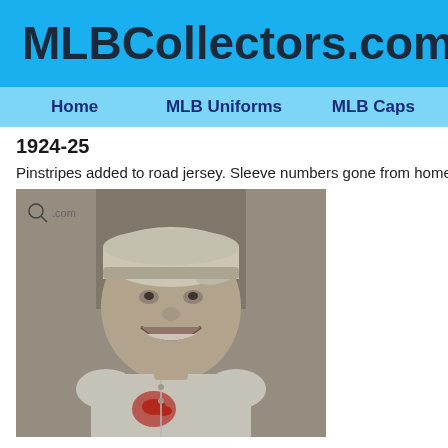MLBCollectors.com
Home | MLB Uniforms | MLB Caps
1924-25
Pinstripes added to road jersey. Sleeve numbers gone from home je…
[Figure (photo): Black-and-white photograph of a smiling baseball player wearing a Cardinals uniform with bird logo on chest and a white baseball cap, posed in front of a wooden fence/backstop.]